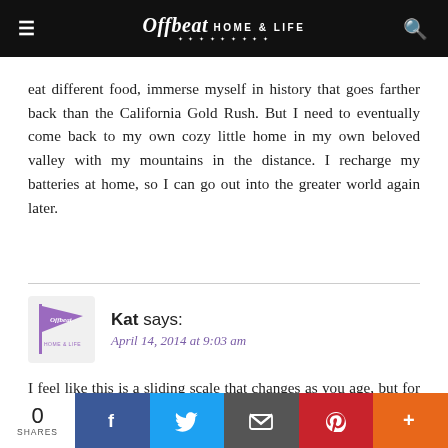Offbeat Home & Life
eat different food, immerse myself in history that goes farther back than the California Gold Rush. But I need to eventually come back to my own cozy little home in my own beloved valley with my mountains in the distance. I recharge my batteries at home, so I can go out into the greater world again later.
Kat says:
April 14, 2014 at 9:03 am
I feel like this is a sliding scale that changes as you age, but for now I'm a stayer. I like going and seeing places, but I like
0 SHARES | Facebook | Twitter | Email | Pinterest | More